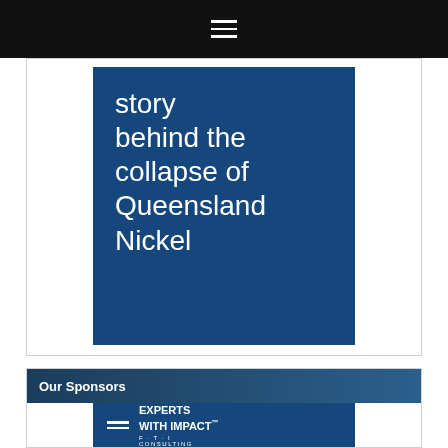☰
[Figure (illustration): Dark blue card with large white text reading 'story behind the collapse of Queensland Nickel']
Our Sponsors
[Figure (logo): FTI Consulting advertisement banner: 'EXPERTS WITH IMPACT™' with a gavel image and FTI Consulting logo on blue background]